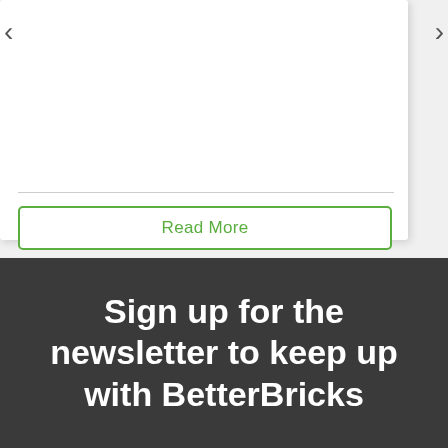[Figure (screenshot): Top section showing a white card with navigation arrows (left and right chevrons), a horizontal divider line, and a green-bordered 'Read More' button, all on a light grey background.]
Read More
Sign up for the newsletter to keep up with BetterBricks